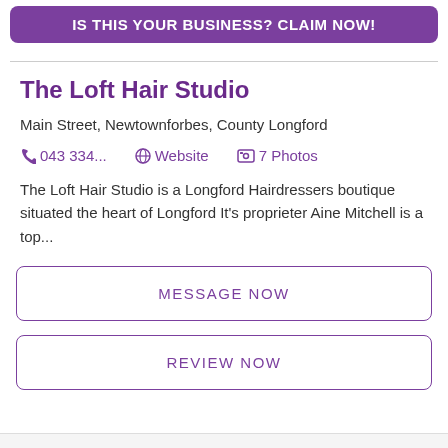IS THIS YOUR BUSINESS? CLAIM NOW!
The Loft Hair Studio
Main Street, Newtownforbes, County Longford
043 334...   Website   7 Photos
The Loft Hair Studio is a Longford Hairdressers boutique situated the heart of Longford It's proprieter Aine Mitchell is a top...
MESSAGE NOW
REVIEW NOW